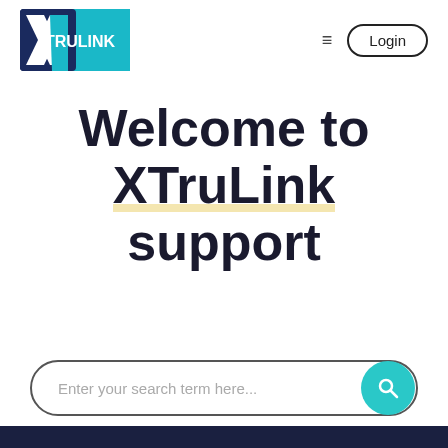[Figure (logo): XTruLink logo — dark navy X mark on left, teal rectangle background with white text TRULINK]
Login
Welcome to XTruLink support
Enter your search term here...